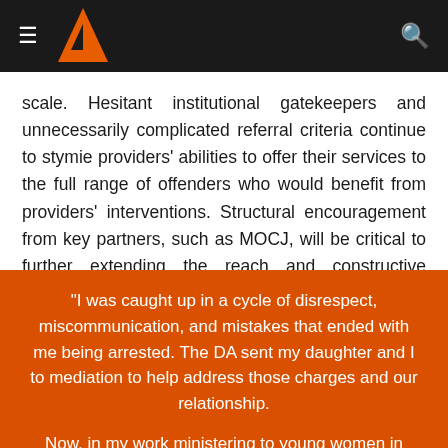≡  [Logo]  [Search]
scale. Hesitant institutional gatekeepers and unnecessarily complicated referral criteria continue to stymie providers' abilities to offer their services to the full range of offenders who would benefit from providers' interventions. Structural encouragement from key partners, such as MOCJ, will be critical to further extending the reach and constructive consequence of providers' offender services.
"I was caught up in a cycle of disrespect, miscommunication, and mistakes that ended with me being arrested. The DA sent my daughter and I to mediation to help address those charges and our relationship.

Now, in my work ministering to young women in prison, I see so many who sit with so much ager and